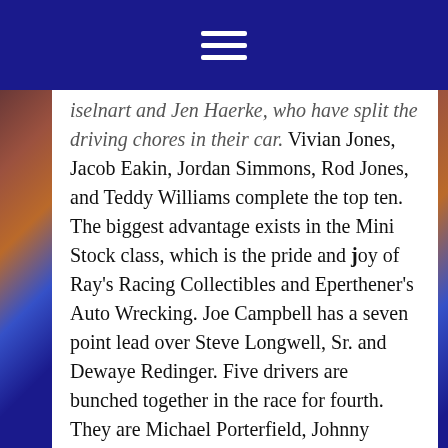[Figure (other): Dark blue navigation bar with a white hamburger menu icon (three horizontal lines) centered at the top of the page]
iselnart and Jen Haerke, who have split the driving chores in their car. Vivian Jones, Jacob Eakin, Jordan Simmons, Rod Jones, and Teddy Williams complete the top ten. The biggest advantage exists in the Mini Stock class, which is the pride and joy of Ray's Racing Collectibles and Eperthener's Auto Wrecking. Joe Campbell has a seven point lead over Steve Longwell, Sr. and Dewaye Redinger. Five drivers are bunched together in the race for fourth. They are Michael Porterfield, Johnny Bruce, David MacRae, David Coffin, and Phil King. Karlee Longwell, with an assist from her dad, Steve Jr., and Pete Blaczak make up the rest of the top ten. All of these racers, and many more, will be ready to go this Saturday when the pit gates open at 4 p.m. Spectator gates will open an hour later, at 5. Practice sessions will commence at 6:30, with heat races beginning at 7 p.m. The regular event ticket